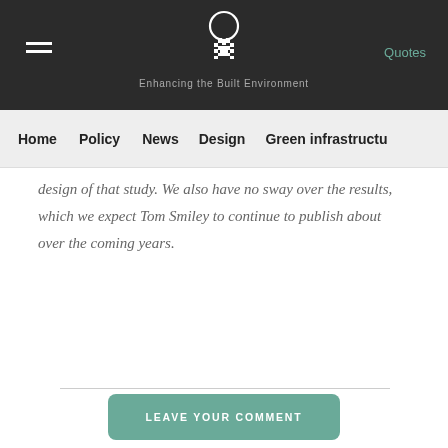Enhancing the Built Environment | Quotes
Home | Policy | News | Design | Green infrastructure
design of that study. We also have no sway over the results, which we expect Tom Smiley to continue to publish about over the coming years.
LEAVE YOUR COMMENT